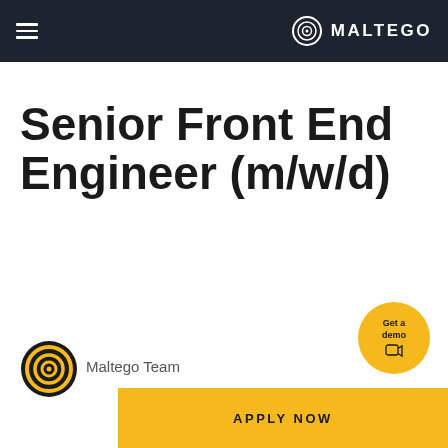Maltego
Senior Front End Engineer (m/w/d)
Maltego Team
[Figure (logo): Maltego logo icon - circular target/spiral graphic in yellow and dark]
[Figure (other): Get a demo button - circular yellow badge with camera icon and cursor]
APPLY NOW